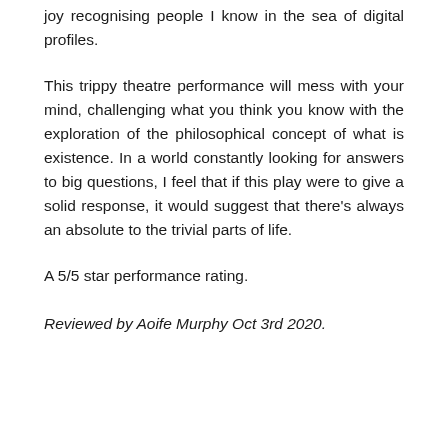joy recognising people I know in the sea of digital profiles.
This trippy theatre performance will mess with your mind, challenging what you think you know with the exploration of the philosophical concept of what is existence. In a world constantly looking for answers to big questions, I feel that if this play were to give a solid response, it would suggest that there’s always an absolute to the trivial parts of life.
A 5/5 star performance rating.
Reviewed by Aoife Murphy Oct 3rd 2020.